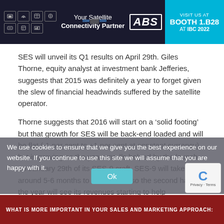[Figure (screenshot): ABS satellite connectivity partner banner advertisement with dark background, icons, satellite imagery, ABS logo, and cyan visit booth panel showing BOOTH 1.B28 AT IBC 2022]
SES will unveil its Q1 results on April 29th. Giles Thorne, equity analyst at investment bank Jefferies, suggests that 2015 was definitely a year to forget given the slew of financial headwinds suffered by the satellite operator.
Thorne suggests that 2016 will start on a ‘solid footing’ but that growth for SES will be back-end loaded and will be flat (-1 per cent to +1 per cent at constant currency) but improving as the year unrolls helped by the launch on January 29th of its SES-9 craft. SES-9 will take around 5-6 months to reach orbit, so the second half of the year will see its revenues starting to help profitability.
We use cookies to ensure that we give you the best experience on our website. If you continue to use this site we will assume that you are happy with it.
WHAT IS MORE IMPORTANT IN YOUR SALES AND MARKETING APPROACH: